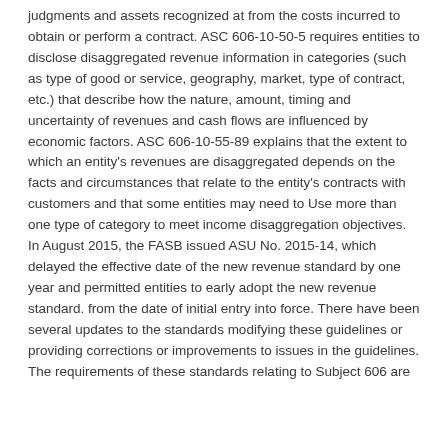judgments and assets recognized at from the costs incurred to obtain or perform a contract. ASC 606-10-50-5 requires entities to disclose disaggregated revenue information in categories (such as type of good or service, geography, market, type of contract, etc.) that describe how the nature, amount, timing and uncertainty of revenues and cash flows are influenced by economic factors. ASC 606-10-55-89 explains that the extent to which an entity's revenues are disaggregated depends on the facts and circumstances that relate to the entity's contracts with customers and that some entities may need to Use more than one type of category to meet income disaggregation objectives. In August 2015, the FASB issued ASU No. 2015-14, which delayed the effective date of the new revenue standard by one year and permitted entities to early adopt the new revenue standard. from the date of initial entry into force. There have been several updates to the standards modifying these guidelines or providing corrections or improvements to issues in the guidelines. The requirements of these standards relating to Subject 606 are